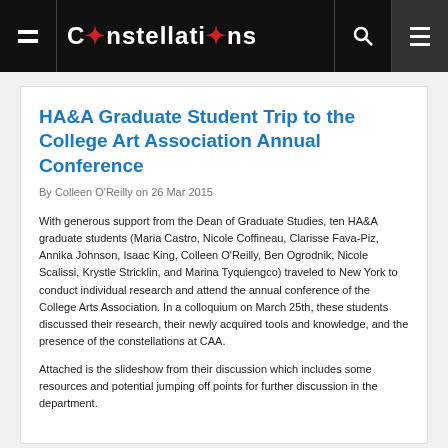Constellations
HA&A Graduate Student Trip to the College Art Association Annual Conference
By Colleen O'Reilly on 26 Mar 2015
With generous support from the Dean of Graduate Studies, ten HA&A graduate students (Maria Castro, Nicole Coffineau, Clarisse Fava-Piz, Annika Johnson, Isaac King, Colleen O'Reilly, Ben Ogrodnik, Nicole Scalissi, Krystle Stricklin, and Marina Tyquiengco) traveled to New York to conduct individual research and attend the annual conference of the College Arts Association. In a colloquium on March 25th, these students discussed their research, their newly acquired tools and knowledge, and the presence of the constellations at CAA.
Attached is the slideshow from their discussion which includes some resources and potential jumping off points for further discussion in the department.